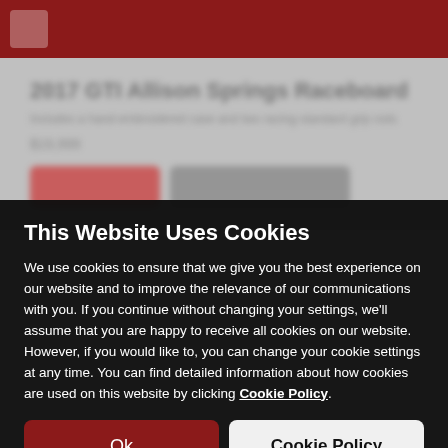[Figure (screenshot): Blurred website background showing a dark red navigation bar at top and blurred product listing content below]
This Website Uses Cookies
We use cookies to ensure that we give you the best experience on our website and to improve the relevance of our communications with you. If you continue without changing your settings, we'll assume that you are happy to receive all cookies on our website. However, if you would like to, you can change your cookie settings at any time. You can find detailed information about how cookies are used on this website by clicking Cookie Policy.
Ok
Cookie Policy